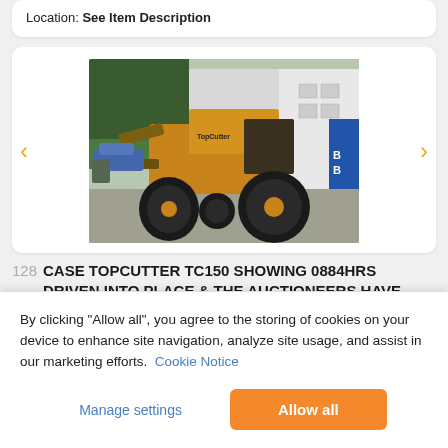Location: See Item Description
[Figure (photo): Photo of a Case TopCutter TC150 wheeled loader/mower with large tires, orange/yellow body, parked in a yard with buildings and vehicles in background.]
128  CASE TOPCUTTER TC150 SHOWING 0884HRS DRIVEN INTO PLACE & THE AUCTIONEERS HAVE SEEN A DEMONSTRATION
By clicking "Allow all", you agree to the storing of cookies on your device to enhance site navigation, analyze site usage, and assist in our marketing efforts.  Cookie Notice
Manage settings
Allow all